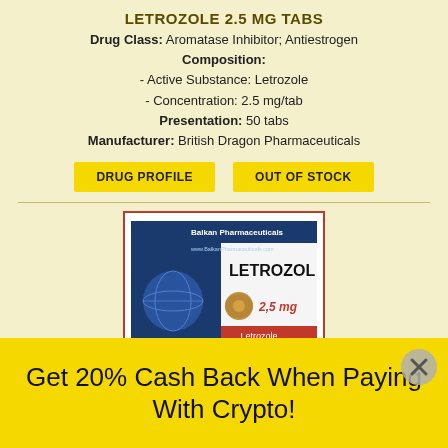LETROZOLE 2.5 MG TABS
Drug Class: Aromatase Inhibitor; Antiestrogen
Composition:
- Active Substance: Letrozole
- Concentration: 2.5 mg/tab
Presentation: 50 tabs
Manufacturer: British Dragon Pharmaceuticals
DRUG PROFILE | OUT OF STOCK
[Figure (photo): Product box of Letrozol 2.5 mg by Balkan Pharmaceuticals, showing the BP logo, globe graphic, pill image, and text 'LETROZOL 2,5 mg Letrozole Comprimate']
Get 20% Cash Back When Paying With Crypto!